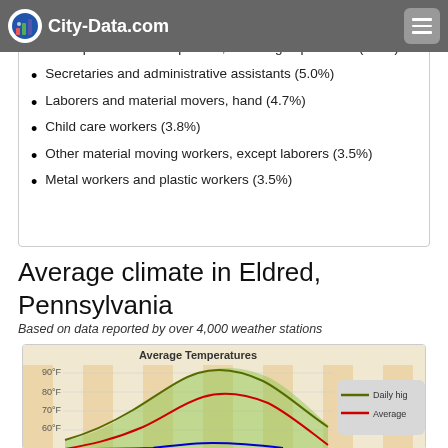City-Data.com
Other production occupations, including supervisors (5.6%)
Secretaries and administrative assistants (5.0%)
Laborers and material movers, hand (4.7%)
Child care workers (3.8%)
Other material moving workers, except laborers (3.5%)
Metal workers and plastic workers (3.5%)
Average climate in Eldred, Pennsylvania
Based on data reported by over 4,000 weather stations
[Figure (area-chart): Area chart showing average temperatures in Eldred PA. Y-axis shows temperature in °F from ~30°F to 90°F. Green shaded area between daily high and low, red line for average, blue line at bottom. Partial chart visible showing summer peak around 80°F daily high, 60°F average.]